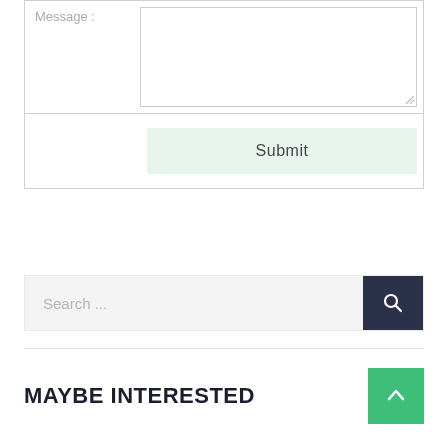Message :
Submit
Search ...
MAYBE INTERESTED